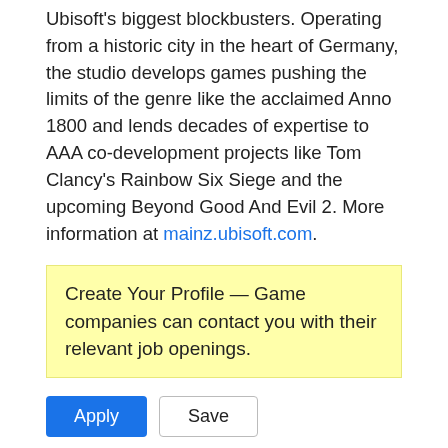Ubisoft's biggest blockbusters. Operating from a historic city in the heart of Germany, the studio develops games pushing the limits of the genre like the acclaimed Anno 1800 and lends decades of expertise to AAA co-development projects like Tom Clancy's Rainbow Six Siege and the upcoming Beyond Good And Evil 2. More information at mainz.ubisoft.com.
Create Your Profile — Game companies can contact you with their relevant job openings.
Related Jobs
Senior - 3D Artist - Environments and Props
City State Entertainment · Bothell, WA · 4 months ago
3D Environment and Prop Artist
Ramen VR · 6 months ago